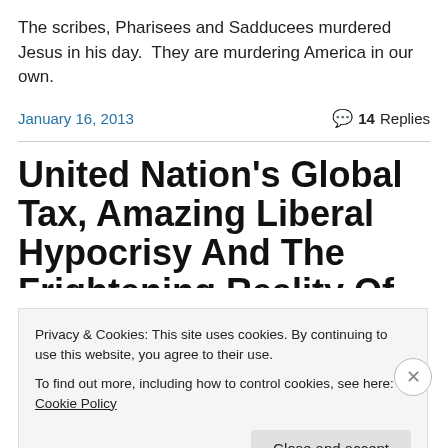The scribes, Pharisees and Sadducees murdered Jesus in his day.  They are murdering America in our own.
January 16, 2013   💬 14 Replies
United Nation's Global Tax, Amazing Liberal Hypocrisy And The Frightening Reality Of How Truly DANGEROUS
Privacy & Cookies: This site uses cookies. By continuing to use this website, you agree to their use.
To find out more, including how to control cookies, see here: Cookie Policy
Close and accept